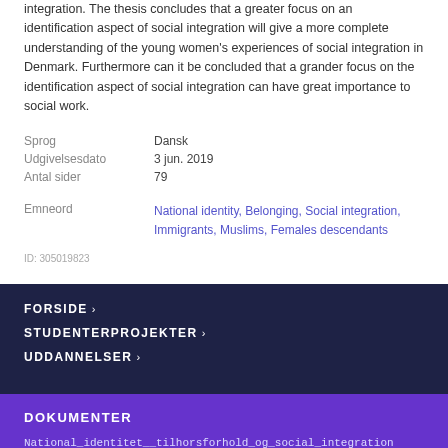integration. The thesis concludes that a greater focus on an identification aspect of social integration will give a more complete understanding of the young women's experiences of social integration in Denmark. Furthermore can it be concluded that a grander focus on the identification aspect of social integration can have great importance to social work.
| Sprog | Dansk |
| Udgivelsesdato | 3 jun. 2019 |
| Antal sider | 79 |
| Emneord | National identity, Belonging, Social integration, Immigrants, Muslims, Females descendants |
ID: 305019823
FORSIDE ›
STUDENTERPROJEKTER ›
UDDANNELSER ›
DOKUMENTER
National_identitet__tilhorsforhold_og_social_integration